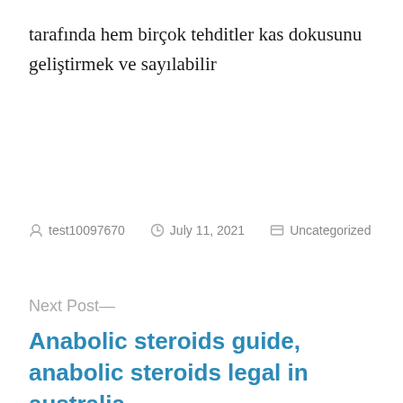tarafında hem birçok tehditler kas dokusunu geliştirmek ve sayılabilir
test10097670  July 11, 2021  Uncategorized
Next Post—
Anabolic steroids guide, anabolic steroids legal in australia